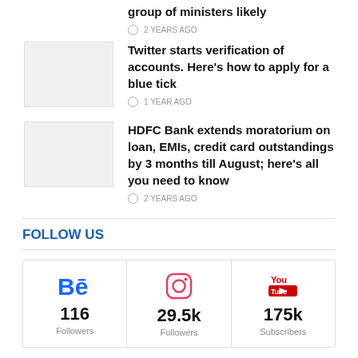group of ministers likely
⏱ 2 YEARS AGO
Twitter starts verification of accounts. Here's how to apply for a blue tick
⏱ 1 YEAR AGO
HDFC Bank extends moratorium on loan, EMIs, credit card outstandings by 3 months till August; here's all you need to know
⏱ 2 YEARS AGO
FOLLOW US
[Figure (infographic): Social media follow counts: Behance 116 Followers, Instagram 29.5k Followers, YouTube 175k Subscribers]